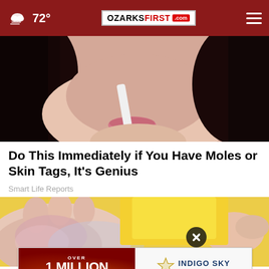72° OZARKSFIRST.com
[Figure (photo): Close-up of a woman with dark hair holding something near her face, skin-tone background]
Do This Immediately if You Have Moles or Skin Tags, It's Genius
Smart Life Reports
[Figure (photo): Close-up of a person's foot/hand with skin on a yellow background, showing skin condition]
[Figure (photo): Advertisement banner: OVER 1 MILLION TOTAL CASH & OD REWARDS PRIZES WILL GO! with Indigo Sky Casino & Resort logo]